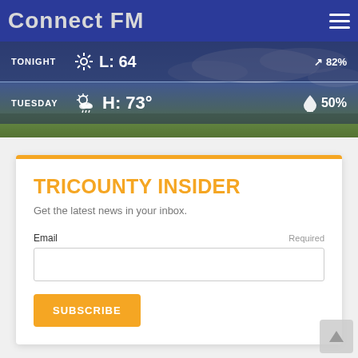Connect FM
[Figure (screenshot): Weather forecast banner showing TONIGHT L: 64 with wind icon, and TUESDAY H: 73° with partly cloudy/rain icon and 50% precipitation, over a sky and green field background.]
TRICOUNTY INSIDER
Get the latest news in your inbox.
Email  Required
SUBSCRIBE